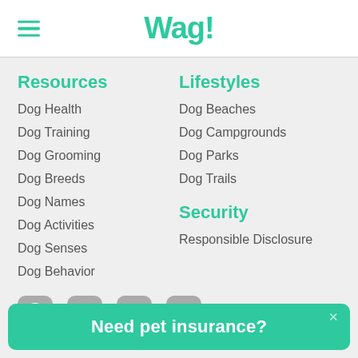Wag!
Resources
Dog Health
Dog Training
Dog Grooming
Dog Breeds
Dog Names
Dog Activities
Dog Senses
Dog Behavior
Lifestyles
Dog Beaches
Dog Campgrounds
Dog Parks
Dog Trails
Security
Responsible Disclosure
[Figure (illustration): Social media icons: Facebook, Instagram, Twitter, TikTok]
Need pet insurance?